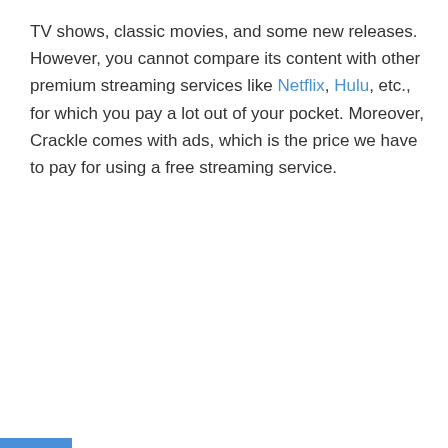TV shows, classic movies, and some new releases. However, you cannot compare its content with other premium streaming services like Netflix, Hulu, etc., for which you pay a lot out of your pocket. Moreover, Crackle comes with ads, which is the price we have to pay for using a free streaming service.